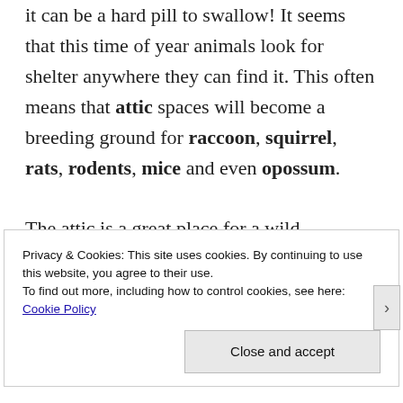it can be a hard pill to swallow! It seems that this time of year animals look for shelter anywhere they can find it. This often means that attic spaces will become a breeding ground for raccoon, squirrel, rats, rodents, mice and even opossum.
The attic is a great place for a wild
Privacy & Cookies: This site uses cookies. By continuing to use this website, you agree to their use.
To find out more, including how to control cookies, see here: Cookie Policy